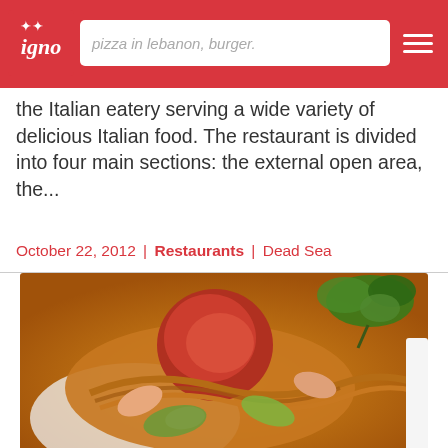pizza in lebanon, burger.
the Italian eatery serving a wide variety of delicious Italian food. The restaurant is divided into four main sections: the external open area, the...
October 22, 2012 | Restaurants | Dead Sea
[Figure (photo): Close-up photo of Italian pasta dish with shrimp, zucchini, tomatoes and herbs in a white bowl]
RESTAURANTS
Ashur: Kempinski Ishtar Italian Restaurant
It was my third day in Jordan and I was promised